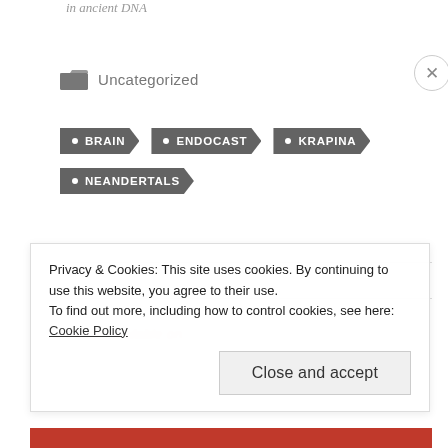in ancient DNA
Uncategorized
BRAIN
ENDOCAST
KRAPINA
NEANDERTALS
Privacy & Cookies: This site uses cookies. By continuing to use this website, you agree to their use. To find out more, including how to control cookies, see here: Cookie Policy
Close and accept